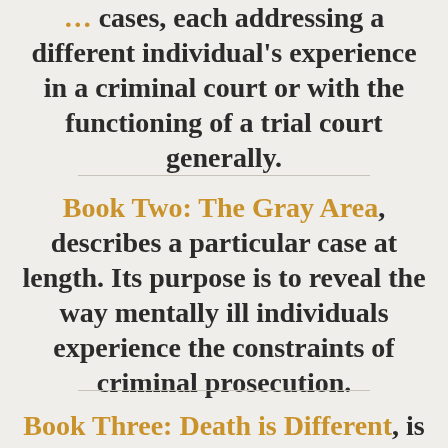cases, each addressing a different individual's experience in a criminal court or with the functioning of a trial court generally.
Book Two: The Gray Area, describes a particular case at length.  Its purpose is to reveal the way mentally ill individuals experience the constraints of criminal prosecution.
Book Three: Death is Different, is